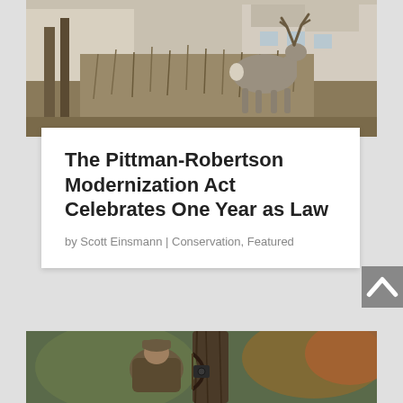[Figure (photo): A white-tailed deer buck standing in tall dry grass near a house and trees in autumn/winter season]
The Pittman-Robertson Modernization Act Celebrates One Year as Law
by Scott Einsmann | Conservation, Featured
[Figure (photo): A hunter in camouflage gear with a bow, positioned in a tree stand next to a large tree trunk with autumn foliage visible]